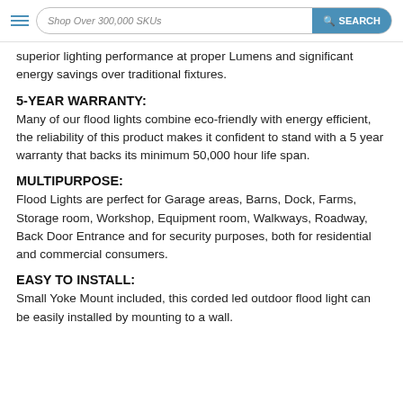Shop Over 300,000 SKUs  SEARCH
superior lighting performance at proper Lumens and significant energy savings over traditional fixtures.
5-YEAR WARRANTY:
Many of our flood lights combine eco-friendly with energy efficient, the reliability of this product makes it confident to stand with a 5 year warranty that backs its minimum 50,000 hour life span.
MULTIPURPOSE:
Flood Lights are perfect for Garage areas, Barns, Dock, Farms, Storage room, Workshop, Equipment room, Walkways, Roadway, Back Door Entrance and for security purposes, both for residential and commercial consumers.
EASY TO INSTALL:
Small Yoke Mount included, this corded led outdoor flood light can be easily installed by mounting to a wall.